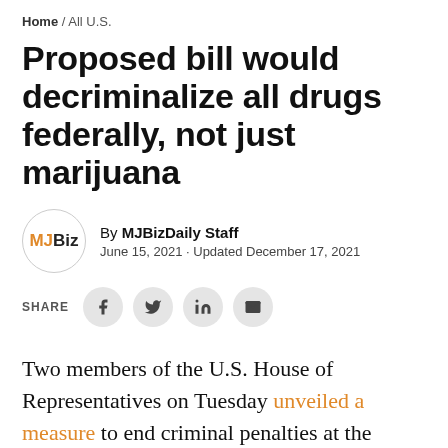Home / All U.S.
Proposed bill would decriminalize all drugs federally, not just marijuana
By MJBizDaily Staff
June 15, 2021 - Updated December 17, 2021
Two members of the U.S. House of Representatives on Tuesday unveiled a measure to end criminal penalties at the federal level for the possession of all drugs, including marijuana